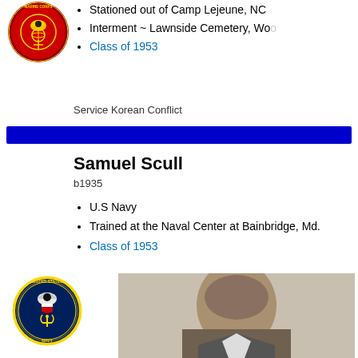[Figure (logo): United States Marine Corps circular emblem logo]
Stationed out of Camp Lejeune, NC
Interment ~ Lawnside Cemetery, Wo...
Class of 1953
Service Korean Conflict
Samuel Scull
b1935
U.S Navy
Trained at the Naval Center at Bainbridge, Md.
Class of 1953
[Figure (logo): United States Navy circular emblem logo]
[Figure (photo): Black and white portrait photograph of Samuel Scull]